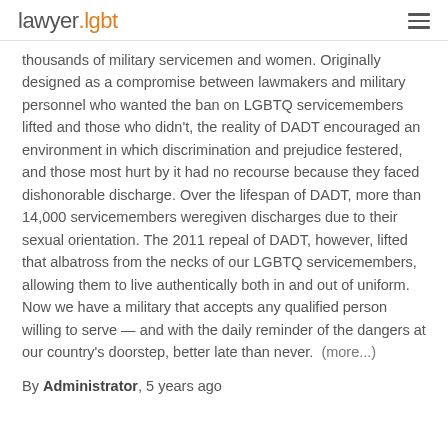lawyer.lgbt
thousands of military servicemen and women. Originally designed as a compromise between lawmakers and military personnel who wanted the ban on LGBTQ servicemembers lifted and those who didn't, the reality of DADT encouraged an environment in which discrimination and prejudice festered, and those most hurt by it had no recourse because they faced dishonorable discharge. Over the lifespan of DADT, more than 14,000 servicemembers weregiven discharges due to their sexual orientation. The 2011 repeal of DADT, however, lifted that albatross from the necks of our LGBTQ servicemembers, allowing them to live authentically both in and out of uniform. Now we have a military that accepts any qualified person willing to serve — and with the daily reminder of the dangers at our country's doorstep, better late than never.  (more...)
By Administrator, 5 years ago